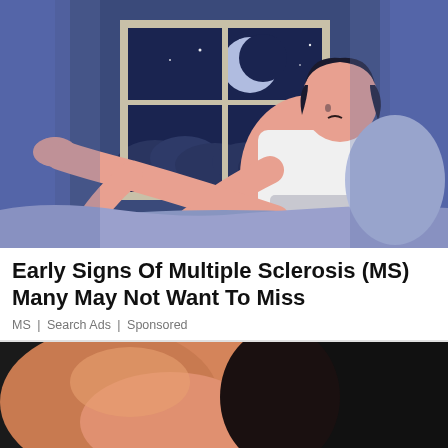[Figure (illustration): Digital illustration of a man sitting up in bed at night, wearing a white tank top and shorts, with one leg raised. A window in the background shows a crescent moon and night sky with clouds and stars. The color palette is blue and purple tones.]
Early Signs Of Multiple Sclerosis (MS) Many May Not Want To Miss
MS | Search Ads | Sponsored
[Figure (photo): Partial photo showing a close-up of a person's knees/legs against a dark background, warmly lit skin tones.]